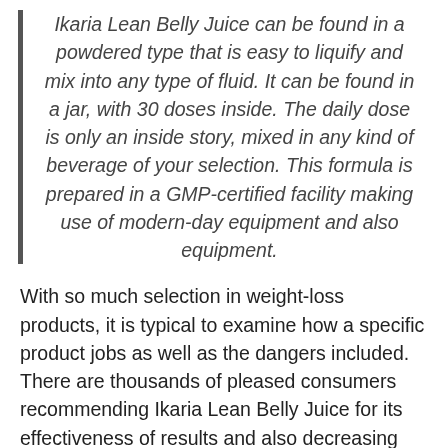Ikaria Lean Belly Juice can be found in a powdered type that is easy to liquify and mix into any type of fluid. It can be found in a jar, with 30 doses inside. The daily dose is only an inside story, mixed in any kind of beverage of your selection. This formula is prepared in a GMP-certified facility making use of modern-day equipment and also equipment.
With so much selection in weight-loss products, it is typical to examine how a specific product jobs as well as the dangers included. There are thousands of pleased consumers recommending Ikaria Lean Belly Juice for its effectiveness of results and also decreasing security dangers. However it depends on how you use this item, and based upon this individual experience, the results